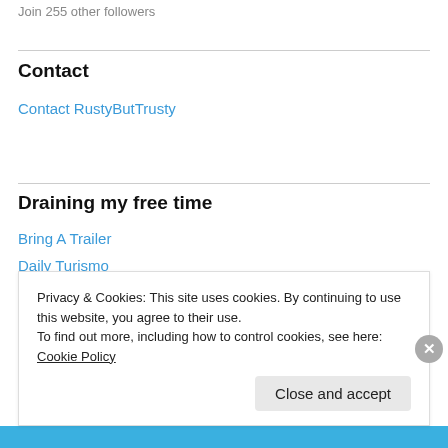Join 255 other followers
Contact
Contact RustyButTrusty
Draining my free time
Bring A Trailer
Daily Turismo
Giuliettas.com
Just A Car Geek
Privacy & Cookies: This site uses cookies. By continuing to use this website, you agree to their use.
To find out more, including how to control cookies, see here: Cookie Policy
Close and accept